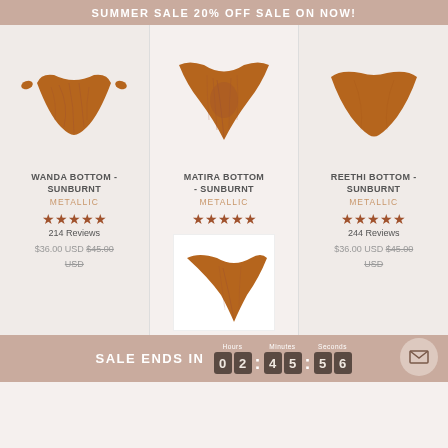SUMMER SALE 20% OFF SALE ON NOW!
[Figure (illustration): Wanda Bottom bikini bottom in Sunburnt Metallic color, brown/rust colored swimwear bottom with tie sides, product illustration on light background]
WANDA BOTTOM - SUNBURNT
METALLIC
★★★★★
214 Reviews
$36.00 USD $45.00 USD
[Figure (illustration): Matira Bottom bikini bottom in Sunburnt Metallic color, brown/rust colored thong style swimwear bottom, product illustration on light background]
MATIRA BOTTOM - SUNBURNT
METALLIC
★★★★★
[Figure (illustration): Matira Bottom second product image, different angle, brown/rust colored thong style swimwear bottom on white background]
[Figure (illustration): Reethi Bottom bikini bottom in Sunburnt Metallic color, brown/rust colored swimwear bottom, product illustration on light background]
REETHI BOTTOM - SUNBURNT
METALLIC
★★★★★
244 Reviews
$36.00 USD $45.00 USD
SALE ENDS IN 02:45:56